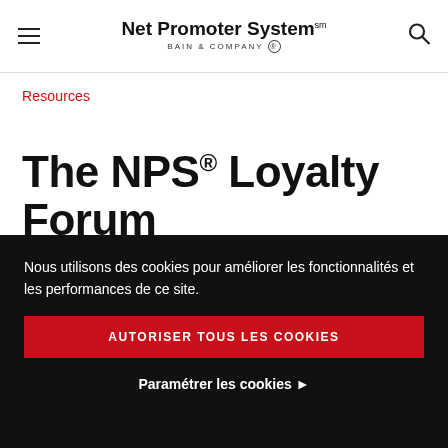Net Promoter System℠ BAIN & COMPANY
Resources
The NPS® Loyalty Forum
Nous utilisons des cookies pour améliorer les fonctionnalités et les performances de ce site.
AUTORISER TOUS LES COOKIES
Paramétrer les cookies ▶